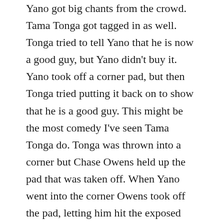Yano got big chants from the crowd. Tama Tonga got tagged in as well. Tonga tried to tell Yano that he is now a good guy, but Yano didn't buy it. Yano took off a corner pad, but then Tonga tried putting it back on to show that he is a good guy. This might be the most comedy I've seen Tama Tonga do. Tonga was thrown into a corner but Chase Owens held up the pad that was taken off. When Yano went into the corner Owens took off the pad, letting him hit the exposed corner. After that everyone brawled into the crowd. At ringside Yano was hit in the head with a corner pad by Owens. Yano made the count back into the ring at 14, and then Ishimori got tagged in. For what it's worth, Ishimori got a separate entrance from other Bullet Club members on this show. Yano was thrown into the exposed corner once again when Owens was tagged in. Tonga even avoided doing